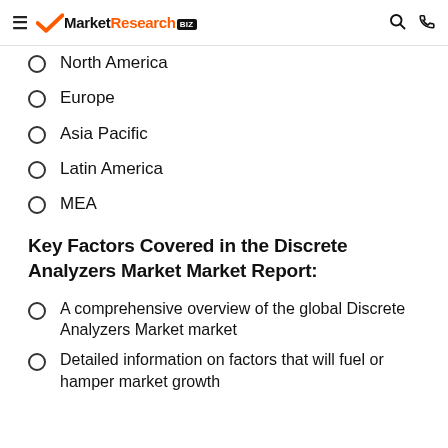MarketResearch.biz
North America
Europe
Asia Pacific
Latin America
MEA
Key Factors Covered in the Discrete Analyzers Market Market Report:
A comprehensive overview of the global Discrete Analyzers Market market
Detailed information on factors that will fuel or hamper market growth